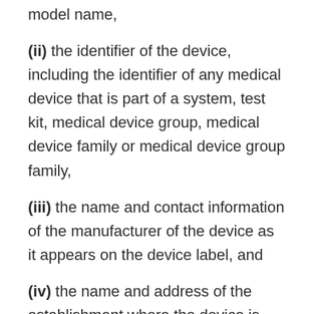model name,
(ii) the identifier of the device, including the identifier of any medical device that is part of a system, test kit, medical device group, medical device family or medical device group family,
(iii) the name and contact information of the manufacturer of the device as it appears on the device label, and
(iv) the name and address of the establishment where the device is